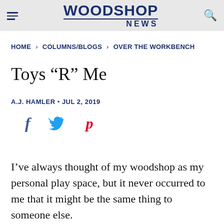WOODSHOP NEWS
HOME › COLUMNS/BLOGS › OVER THE WORKBENCH
Toys “R” Me
A.J. HAMLER • JUL 2, 2019
[Figure (other): Social media share icons: Facebook (f), Twitter (bird), Pinterest (p)]
I’ve always thought of my woodshop as my personal play space, but it never occurred to me that it might be the same thing to someone else.